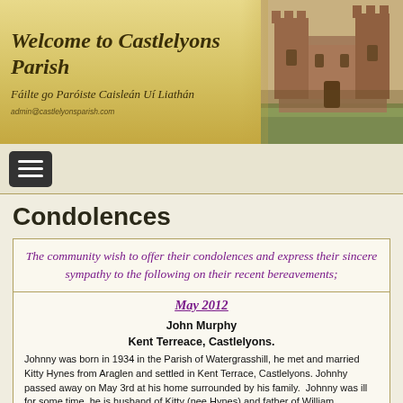[Figure (illustration): Castlelyons Parish website header banner with title text and castle ruin photograph on the right]
Welcome to Castlelyons Parish
Fáilte go Paróiste Caisleán Uí Liathán
admin@castlelyonsparish.com
[Figure (screenshot): Navigation hamburger menu button (three horizontal lines on dark background)]
Condolences
The community wish to offer their condolences and express their sincere sympathy to the following on their recent bereavements;
May 2012
John Murphy
Kent Terreace, Castlelyons.
Johnny was born in 1934 in the Parish of Watergrasshill, he met and married Kitty Hynes from Araglen and settled in Kent Terrace, Castlelyons. Johnhy passed away on May 3rd at his home surrounded by his family. Johnny was ill for some time, he is husband of Kitty (nee Hynes) and father of William, Margaret (Cosgrove) Catherine (Kearney) Mary & Shane, two daughters Eileen and Bridget died 38 years ago in a tragic car accident. He is also survived by his brothers Denny, Ballincurrig, Mick Watergrasshill, Jimmy Kildare, sisters Eileen Hurley Castlelyons, Kitty Foley Cork, Bridie Kildare, Reggie O' Regan Australia. Jimmy worked for